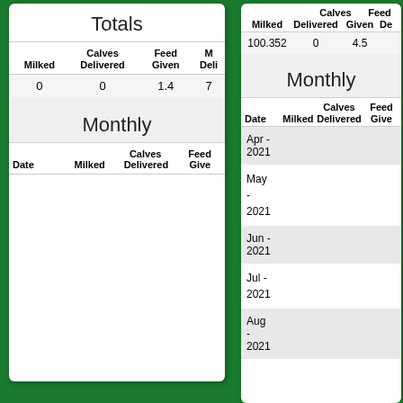Totals
| Milked | Calves Delivered | Feed Given | M Deli |
| --- | --- | --- | --- |
| 0 | 0 | 1.4 | 7 |
Monthly
| Date | Milked | Calves Delivered | Feed Giver |
| --- | --- | --- | --- |
| Milked | Calves Delivered | Feed Given | De |
| --- | --- | --- | --- |
| 100.352 | 0 | 4.5 |  |
Monthly
| Date | Milked | Calves Delivered | Feed Give |
| --- | --- | --- | --- |
| Apr - 2021 |  |  |  |
| May - 2021 |  |  |  |
| Jun - 2021 |  |  |  |
| Jul - 2021 |  |  |  |
| Aug - 2021 |  |  |  |